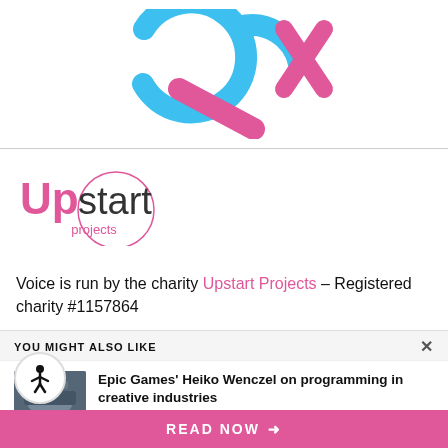[Figure (logo): Partial logo visible at top of page — blue and pink stylized letters (appears to be a search/magnifier icon logo)]
[Figure (logo): Upstart Projects logo — bold pink 'Up' and grey 'start' text with 'projects' inside a pink circle outline]
Voice is run by the charity Upstart Projects – Registered charity #1157864
[Figure (logo): TRINITY logo in bold black uppercase sans-serif letters]
YOU MIGHT ALSO LIKE
[Figure (screenshot): Thumbnail image for article — dark background with a car or vehicle shape]
Epic Games' Heiko Wenczel on programming in creative industries
by Elle Farrell-Kingsley
READ NOW